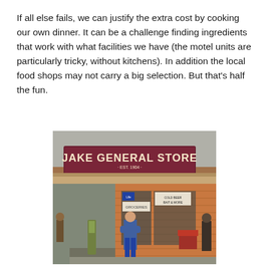If all else fails, we can justify the extra cost by cooking our own dinner. It can be a challenge finding ingredients that work with what facilities we have (the motel units are particularly tricky, without kitchens). In addition the local food shops may not carry a big selection. But that's half the fun.
[Figure (photo): Photograph of a Jake General Store (Est. 1904) storefront with wooden porch pillars, signage including Life and Groceries signs, a man standing in front wearing blue jeans and jacket, and decorative figures on either side.]